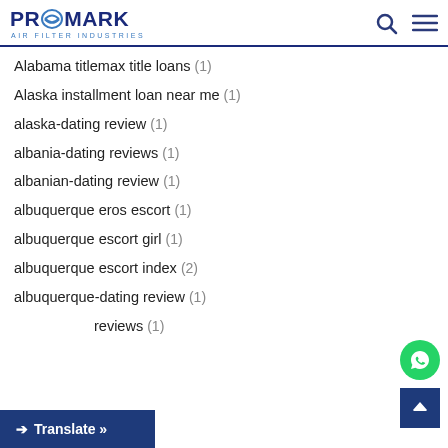PROMARK AIR FILTER INDUSTRIES
Alabama titlemax title loans (1)
Alaska installment loan near me (1)
alaska-dating review (1)
albania-dating reviews (1)
albanian-dating review (1)
albuquerque eros escort (1)
albuquerque escort girl (1)
albuquerque escort index (2)
albuquerque-dating review (1)
a... reviews (1)